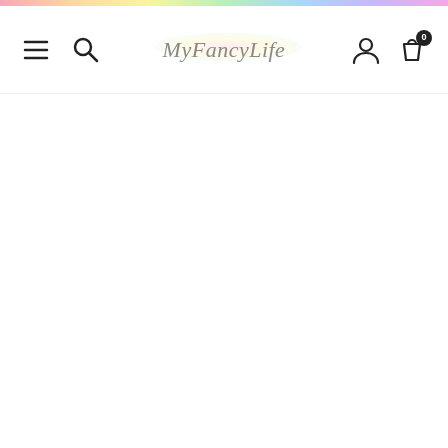[Figure (screenshot): MyFancyLife e-commerce website header/navigation bar with rainbow gradient top bar, hamburger menu icon, search icon, MyFancyLife logo in center, user account icon, and shopping bag icon with 0 badge. Main content area is blank white.]